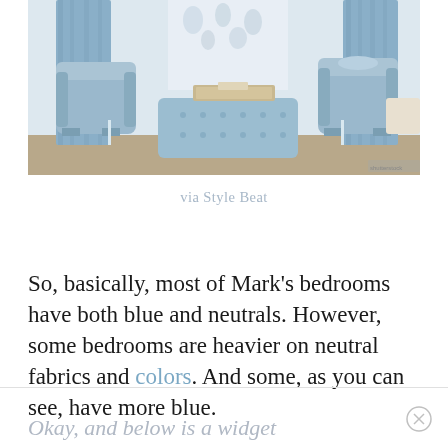[Figure (photo): Interior bedroom scene with blue upholstered furniture including armchairs, a tufted ottoman with a tray on top, blue drapery, and floral wallpaper in soft blue and white tones.]
via Style Beat
So, basically, most of Mark’s bedrooms have both blue and neutrals. However, some bedrooms are heavier on neutral fabrics and colors. And some, as you can see, have more blue.
Okay, and below is a widget